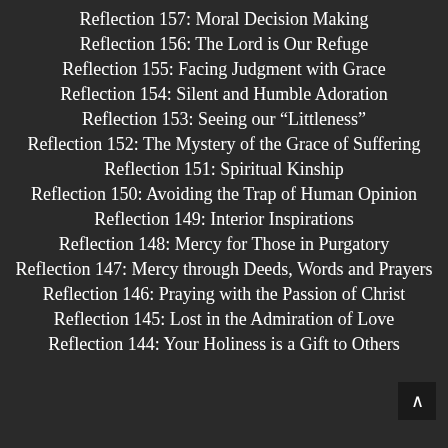Reflection 157: Moral Decision Making
Reflection 156: The Lord is Our Refuge
Reflection 155: Facing Judgment with Grace
Reflection 154: Silent and Humble Adoration
Reflection 153: Seeing our “Littleness”
Reflection 152: The Mystery of the Grace of Suffering
Reflection 151: Spiritual Kinship
Reflection 150: Avoiding the Trap of Human Opinion
Reflection 149: Interior Inspirations
Reflection 148: Mercy for Those in Purgatory
Reflection 147: Mercy through Deeds, Words and Prayers
Reflection 146: Praying with the Passion of Christ
Reflection 145: Lost in the Admiration of Love
Reflection 144: Your Holiness is a Gift to Others